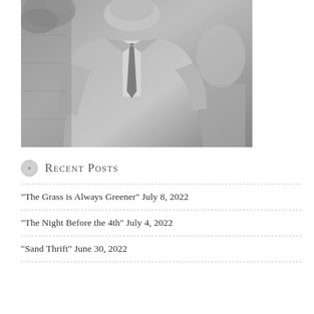[Figure (photo): Black and white photograph of a man in a suit and tie, partially cropped, with foliage visible in the upper left corner. A second person is partially visible to the right.]
Recent Posts
“The Grass is Always Greener” July 8, 2022
“The Night Before the 4th” July 4, 2022
“Sand Thrift” June 30, 2022